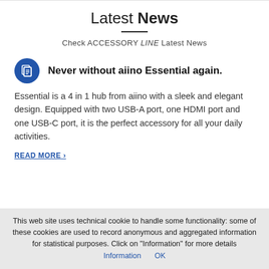Latest News
Check ACCESSORY LINE Latest News
Never without aiino Essential again.
Essential is a 4 in 1 hub from aiino with a sleek and elegant design. Equipped with two USB-A port, one HDMI port and one USB-C port, it is the perfect accessory for all your daily activities.
READ MORE ›
This web site uses technical cookie to handle some functionality: some of these cookies are used to record anonymous and aggregated information for statistical purposes. Click on "Information" for more details Information OK